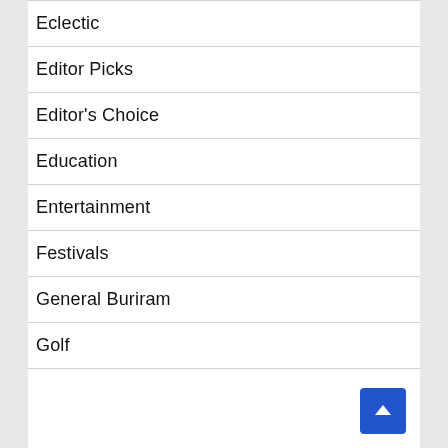Eclectic
Editor Picks
Editor's Choice
Education
Entertainment
Festivals
General Buriram
Golf